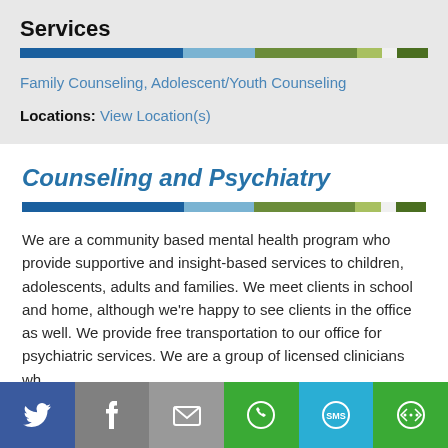Services
Family Counseling, Adolescent/Youth Counseling
Locations: View Location(s)
Counseling and Psychiatry
We are a community based mental health program who provide supportive and insight-based services to children, adolescents, adults and families. We meet clients in school and home, although we're happy to see clients in the office as well. We provide free transportation to our office for psychiatric services. We are a group of licensed clinicians wh